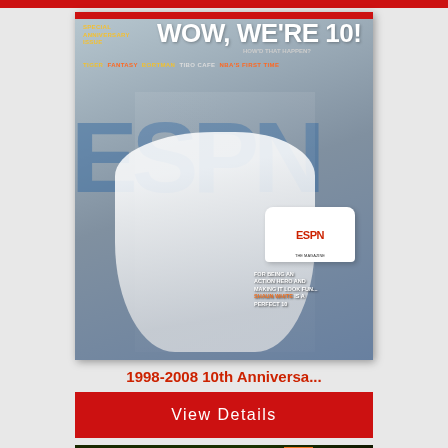[Figure (photo): ESPN Magazine 10th Anniversary issue cover featuring a young athlete in white clothing with a black and white headband extending hand toward camera, holding an ESPN white cap, with text 'WOW, WE’RE 10! HOW’D THAT HAPPEN?' and 'SPECIAL ANNIVERSARY ISSUE' in upper left, and footer text about action hero and perfect 10]
1998-2008 10th Anniversa...
View Details
[Figure (photo): Bottom portion of another ESPN magazine cover showing NFL FANTASY PREVIEW with text 'Six Tricks to Win Your League' and 'RYAN SHECKLER' on right side with X GAMES branding]